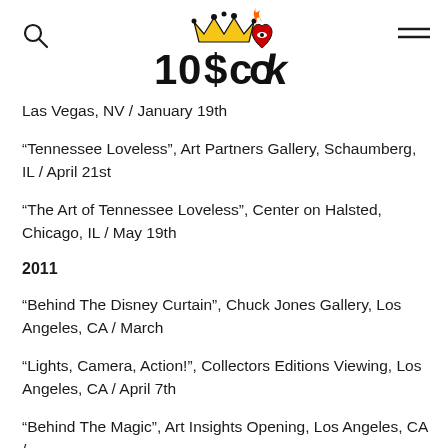10$cook logo with search and menu icons
Las Vegas, NV / January 19th
“Tennessee Loveless”, Art Partners Gallery, Schaumberg, IL / April 21st
“The Art of Tennessee Loveless”, Center on Halsted, Chicago, IL / May 19th
2011
“Behind The Disney Curtain”, Chuck Jones Gallery, Los Angeles, CA / March
“Lights, Camera, Action!”, Collectors Editions Viewing, Los Angeles, CA / April 7th
“Behind The Magic”, Art Insights Opening, Los Angeles, CA /